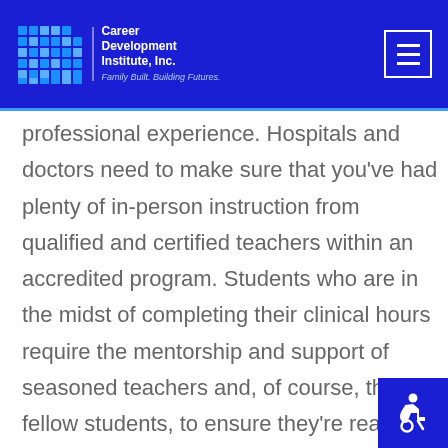Career Development Institute, Inc. Family Built. Building Futures.
professional experience. Hospitals and doctors need to make sure that you've had plenty of in-person instruction from qualified and certified teachers within an accredited program. Students who are in the midst of completing their clinical hours require the mentorship and support of seasoned teachers and, of course, their fellow students, to ensure they're ready for the paces and real life challenges of the healthcare industry.